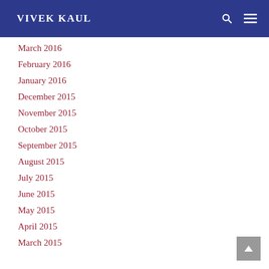VIVEK KAUL
March 2016
February 2016
January 2016
December 2015
November 2015
October 2015
September 2015
August 2015
July 2015
June 2015
May 2015
April 2015
March 2015